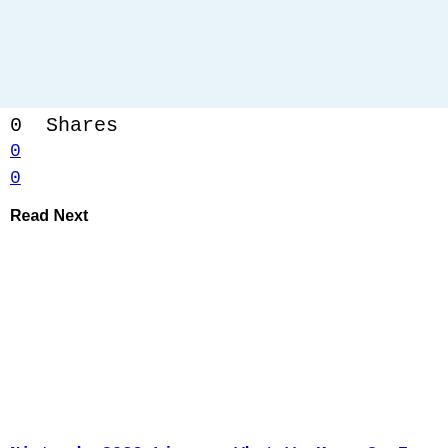[Figure (other): Light blue banner/advertisement placeholder area at top of page]
0 Shares
0
0
Read Next
[Figure (photo): White/blank image placeholder for Read Next article]
Nintendo 2020 Lineup: What We Know So Far